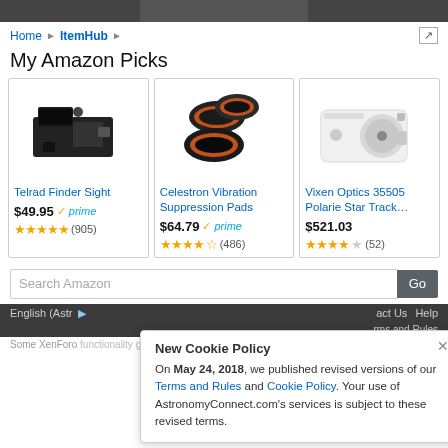[Figure (screenshot): Dark image bar at top of page]
Home > ItemHub >
My Amazon Picks
[Figure (photo): Telrad Finder Sight - black optical finder device]
Telrad Finder Sight
$49.95 prime (905)
[Figure (photo): Celestron Vibration Suppression Pads - black rubber pads with orange rings]
Celestron Vibration Suppression Pads
$64.79 prime (486)
[Figure (photo): Vixen Optics 35505 Polarie Star Track... - white compact camera-like device]
Vixen Optics 35505 Polarie Star Track...
$521.03 (52)
Search Amazon
New Cookie Policy
On May 24, 2018, we published revised versions of our Terms and Rules and Cookie Policy. Your use of AstronomyConnect.com's services is subject to these revised terms.
English (Astr... | ...act Us | Help | ...rms and Rules
Some XenForo functionality granted by Addonso Design.